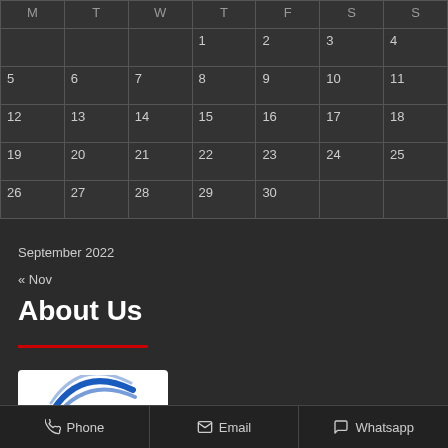| M | T | W | T | F | S | S |
| --- | --- | --- | --- | --- | --- | --- |
|  |  |  | 1 | 2 | 3 | 4 |
| 5 | 6 | 7 | 8 | 9 | 10 | 11 |
| 12 | 13 | 14 | 15 | 16 | 17 | 18 |
| 19 | 20 | 21 | 22 | 23 | 24 | 25 |
| 26 | 27 | 28 | 29 | 30 |  |  |
September 2022
« Nov
About Us
[Figure (logo): Logo with blue arc/swoosh on white background]
Phone   Email   Whatsapp